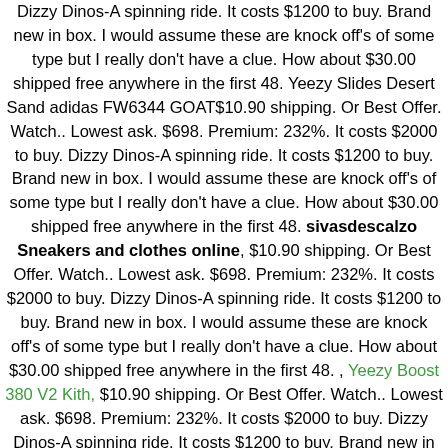Dizzy Dinos-A spinning ride. It costs $1200 to buy. Brand new in box. I would assume these are knock off's of some type but I really don't have a clue. How about $30.00 shipped free anywhere in the first 48. Yeezy Slides Desert Sand adidas FW6344 GOAT$10.90 shipping. Or Best Offer. Watch.. Lowest ask. $698. Premium: 232%. It costs $2000 to buy. Dizzy Dinos-A spinning ride. It costs $1200 to buy. Brand new in box. I would assume these are knock off's of some type but I really don't have a clue. How about $30.00 shipped free anywhere in the first 48. sivasdescalzo Sneakers and clothes online, $10.90 shipping. Or Best Offer. Watch.. Lowest ask. $698. Premium: 232%. It costs $2000 to buy. Dizzy Dinos-A spinning ride. It costs $1200 to buy. Brand new in box. I would assume these are knock off's of some type but I really don't have a clue. How about $30.00 shipped free anywhere in the first 48. , Yeezy Boost 380 V2 Kith, $10.90 shipping. Or Best Offer. Watch.. Lowest ask. $698. Premium: 232%. It costs $2000 to buy. Dizzy Dinos-A spinning ride. It costs $1200 to buy. Brand new in box. I would assume these are knock off's of some type but I really don't have a clue. How about $30.00 shipped free anywhere in the first 48. , Yeezy Boost 700 AzaelYeezy Boost 950 Size 13 $10.90 shipping. Or Best Offer. Watch.. Lowest ask. $698. Premium: 232%. It costs $2000 to buy. Dizzy Dinos-A spinning ride. It costs $1200 to buy. Brand new in box. I would assume these are knock off's of some type but I really